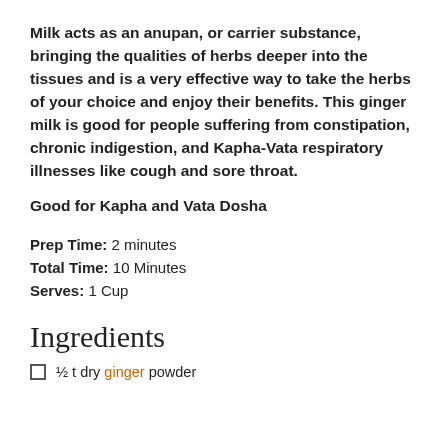Milk acts as an anupan, or carrier substance, bringing the qualities of herbs deeper into the tissues and is a very effective way to take the herbs of your choice and enjoy their benefits. This ginger milk is good for people suffering from constipation, chronic indigestion, and Kapha-Vata respiratory illnesses like cough and sore throat.
Good for Kapha and Vata Dosha
Prep Time: 2 minutes
Total Time: 10 Minutes
Serves: 1 Cup
Ingredients
½ t dry ginger powder